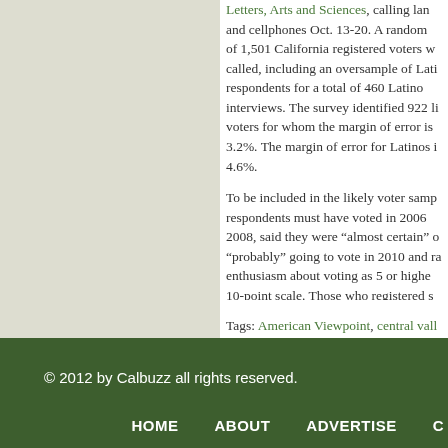Letters, Arts and Sciences, calling landlines and cellphones Oct. 13-20. A random sample of 1,501 California registered voters were called, including an oversample of Latino respondents for a total of 460 Latino interviews. The survey identified 922 likely voters for whom the margin of error is 3.2%. The margin of error for Latinos is 4.6%.
To be included in the likely voter sample, respondents must have voted in 2006 or 2008, said they were "almost certain" or "probably" going to vote in 2010 and rated enthusiasm about voting as 5 or higher on a 10-point scale. Those who registered since the 2008 election were included if they met the "certain" to vote this time around. Likely voters have voted by mail — about 7% of voters...
Tags: American Viewpoint, central valley, LAT/USC survey, latino voters, Los Angeles survey
Posted in Barbara Boxer, California Governor's Race, Carly Fiorina, Jerry Brown, Maid...
© 2012 by Calbuzz all rights reserved.
HOME   ABOUT   ADVERTISE   C...